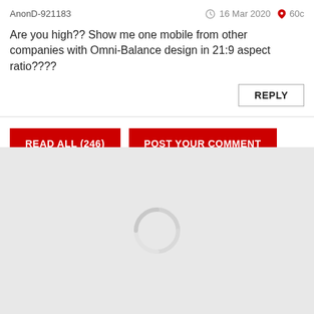AnonD-921183
16 Mar 2020  60c
Are you high?? Show me one mobile from other companies with Omni-Balance design in 21:9 aspect ratio????
REPLY
READ ALL (246)
POST YOUR COMMENT
[Figure (other): Loading spinner icon on gray background area]